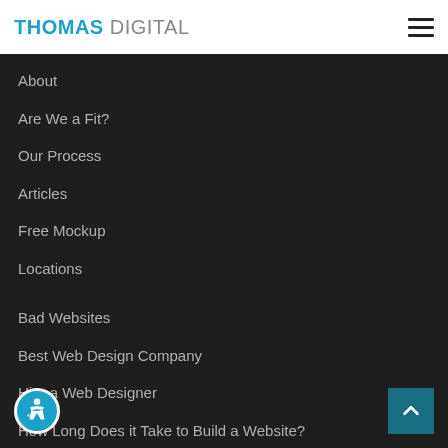THOMAS DIGITAL
About
Are We a Fit?
Our Process
Articles
Free Mockup
Locations
Bad Websites
Best Web Design Company
Hire a Web Designer
How Long Does it Take to Build a Website?
Professional Website Builder
essful Web Design
Web Design Inspiration